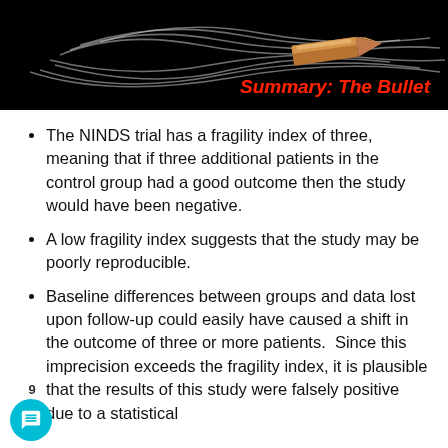[Figure (photo): Black background banner image showing a bullet in flight with smoke trails, with red italic bold text overlay reading 'Summary: The Bullet']
The NINDS trial has a fragility index of three, meaning that if three additional patients in the control group had a good outcome then the study would have been negative.
A low fragility index suggests that the study may be poorly reproducible.
Baseline differences between groups and data lost upon follow-up could easily have caused a shift in the outcome of three or more patients. Since this imprecision exceeds the fragility index, it is plausible that the results of this study were falsely positive due to a statistical